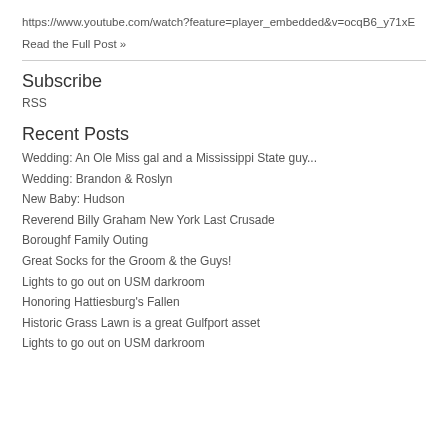https://www.youtube.com/watch?feature=player_embedded&v=ocqB6_y71xE
Read the Full Post »
Subscribe
RSS
Recent Posts
Wedding: An Ole Miss gal and a Mississippi State guy...
Wedding: Brandon & Roslyn
New Baby: Hudson
Reverend Billy Graham New York Last Crusade
Boroughf Family Outing
Great Socks for the Groom & the Guys!
Lights to go out on USM darkroom
Honoring Hattiesburg's Fallen
Historic Grass Lawn is a great Gulfport asset
Lights to go out on USM darkroom